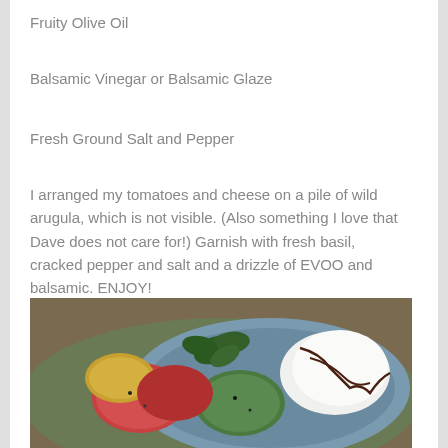Fruity Olive Oil
Balsamic Vinegar or Balsamic Glaze
Fresh Ground Salt and Pepper
I arranged my tomatoes and cheese on a pile of wild arugula, which is not visible.  (Also something I love that Dave does not care for!) Garnish with fresh basil, cracked pepper and salt and a drizzle of EVOO and balsamic. ENJOY!
[Figure (photo): A plate of heirloom tomatoes of various colors (red, green, yellow) with fresh mozzarella drizzled with balsamic glaze and garnished with fresh basil leaves.]